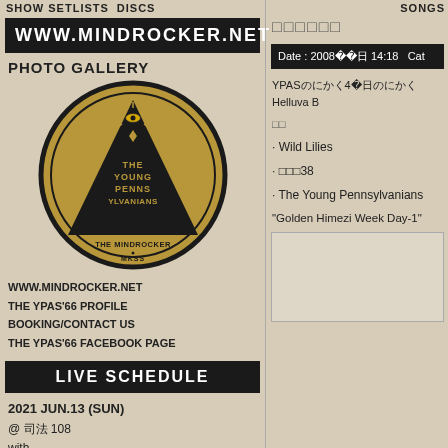SHOW SETLISTS   DISCS
WWW.MINDROCKER.NET
PHOTO GALLERY
[Figure (illustration): Circular album art for The Young Pennsylvanians. Gold/tan circle with black border. Black triangle with illuminati-style eye at top with rays. Text inside triangle reads THE YOUNG PENNS YLVANIANS. Below triangle: THE MINDROCKER, dot, MKSS.]
WWW.MINDROCKER.NET
THE YPAS'66 PROFILE
BOOKING/CONTACT US
THE YPAS'66 FACEBOOK PAGE
LIVE SCHEDULE
2021 JUN.13 (SUN)
@ 司法 108
with…
SONGS
□□□□□□
Date : 2008年04月11日 14:18   Cat
YPASにかく4月27日のにかくHelluva B
□□
· Wild Lilies
· □□□38
· The Young Pennsylvanians
"Golden Himezi Week Day-1"
[Figure (other): Empty bordered content area on right column, lower portion]